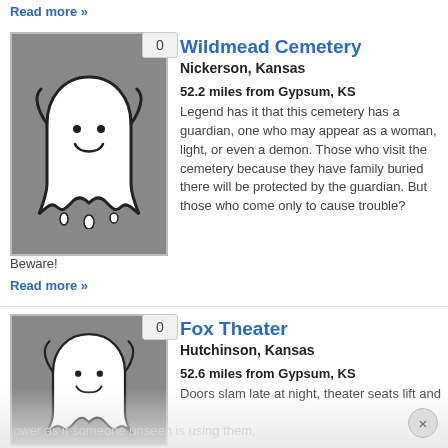Read more »
[Figure (illustration): Ghost cartoon illustration on grey background with vote badge showing 0]
Wildmead Cemetery
Nickerson, Kansas
52.2 miles from Gypsum, KS
Legend has it that this cemetery has a guardian, one who may appear as a woman, light, or even a demon. Those who visit the cemetery because they have family buried there will be protected by the guardian. But those who come only to cause trouble? Beware!
Read more »
[Figure (illustration): Ghost cartoon illustration on grey background with vote badge showing 0]
Fox Theater
Hutchinson, Kansas
52.6 miles from Gypsum, KS
Doors slam late at night, theater seats lift and lower as if someone unseen is using them, and in 2001, the glass from a fire extinguisher panel broke by itself when no one was around.